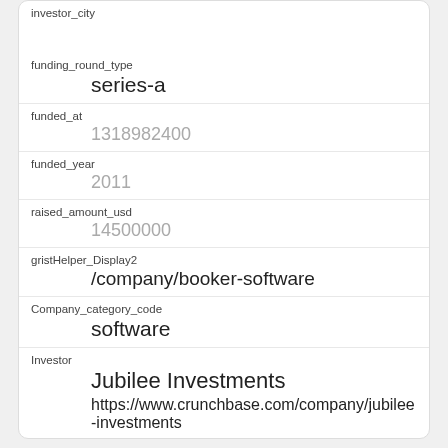| investor_city |  |
| funding_round_type | series-a |
| funded_at | 1318982400 |
| funded_year | 2011 |
| raised_amount_usd | 14500000 |
| gristHelper_Display2 | /company/booker-software |
| Company_category_code | software |
| Investor | Jubilee Investments
https://www.crunchbase.com/company/jubilee-investments |
| id | 313 |